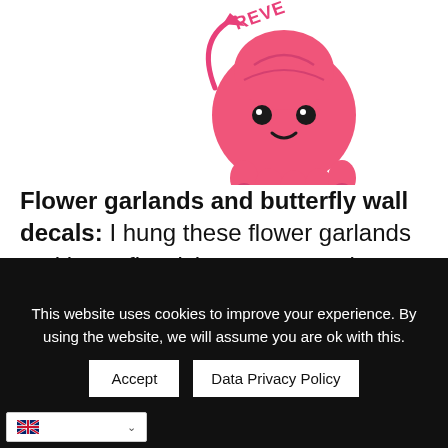[Figure (photo): Pink reversible octopus plush toy with a smiling face and a pink arrow pointing up-left with 'REVE' text visible at top, on white background]
Flower garlands and butterfly wall decals: I hung these flower garlands and butterfly stickers up around my windows, they always been a
This website uses cookies to improve your experience. By using the website, we will assume you are ok with this.
Accept
Data Privacy Policy
English